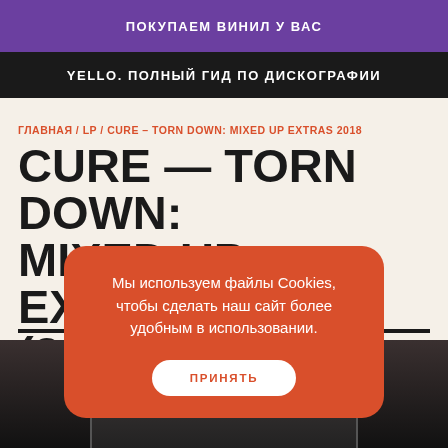ПОКУПАЕМ ВИНИЛ У ВАС
YELLO. ПОЛНЫЙ ГИД ПО ДИСКОГРАФИИ
ГЛАВНАЯ / LP / CURE – TORN DOWN: MIXED UP EXTRAS 2018
CURE — TORN DOWN: MIXED UP EXTRAS 2018 (2...
Мы используем файлы Cookies, чтобы сделать наш сайт более удобным в использовании.
ПРИНЯТЬ
[Figure (photo): Bottom strip showing dark photo of people, partially visible]